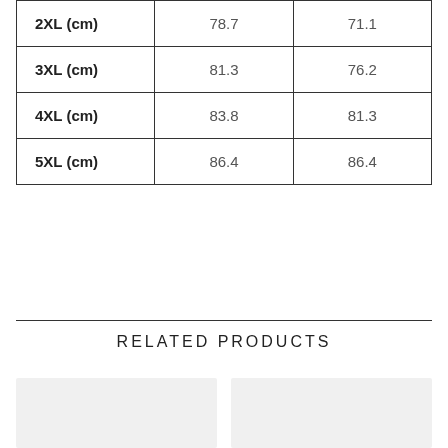| Size | Col1 | Col2 |
| --- | --- | --- |
| 2XL (cm) | 78.7 | 71.1 |
| 3XL (cm) | 81.3 | 76.2 |
| 4XL (cm) | 83.8 | 81.3 |
| 5XL (cm) | 86.4 | 86.4 |
RELATED PRODUCTS
[Figure (photo): Two product image placeholders side by side]